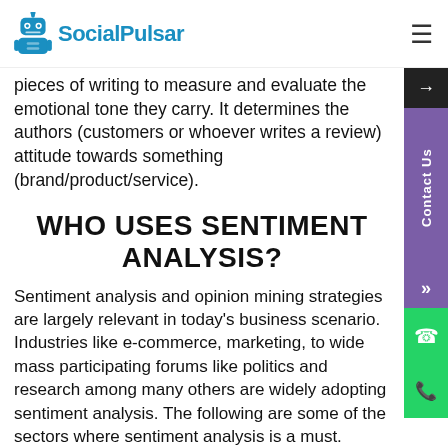SocialPulsar
pieces of writing to measure and evaluate the emotional tone they carry. It determines the authors (customers or whoever writes a review) attitude towards something (brand/product/service).
WHO USES SENTIMENT ANALYSIS?
Sentiment analysis and opinion mining strategies are largely relevant in today's business scenario. Industries like e-commerce, marketing, to wide mass participating forums like politics and research among many others are widely adopting sentiment analysis. The following are some of the sectors where sentiment analysis is a must.